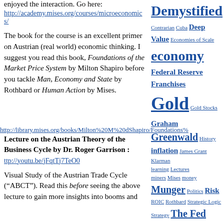enjoyed the interaction. Go here:
http://academy.mises.org/courses/microeconomics/
The book for the course is an excellent primer on Austrian (real world) economic thinking. I suggest you read this book, Foundations of the Market Price System by Milton Shapiro before you tackle Man, Economy and State by Rothbard or Human Action by Mises.
http://library.mises.org/books/Milton%20M%20Shapiro/Foundations%20...
Lecture on the Austrian Theory of the Business Cycle by Dr. Roger Garrison :
ttp://youtu.be/jFqtTj7TeO0
Visual Study of the Austrian Trade Cycle ("ABCT"). Read this before seeing the above lecture to gain more insights into booms and
Demystified Contrarian Cuba Deep Value Economies of Scale economy Federal Reserve Franchises Gold Gold Stocks Graham Greenwald History inflation James Grant Klarman Learning Lectures miners Mises money Munger Politics Risk ROIC Rothbard Strategic Logic Strategy The Fed valuation Value Investing Resources Value Vault Videos